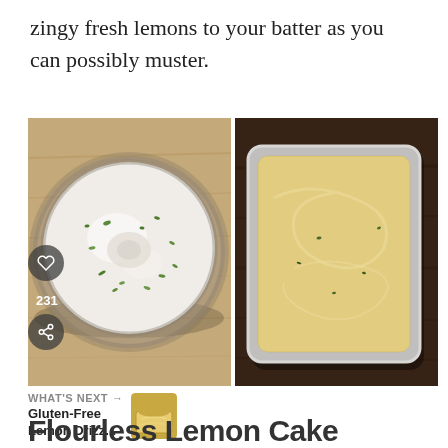zingy fresh lemons to your batter as you can possibly muster.
[Figure (photo): Two food photos side by side: left shows a glass bowl with white flour mixture and green lemon zest from above; right shows a loaf pan filled with smooth pale yellow batter on a dark wooden surface.]
WHAT'S NEXT → Gluten-Free Lemon Drizz...
Flourless Lemon Cake